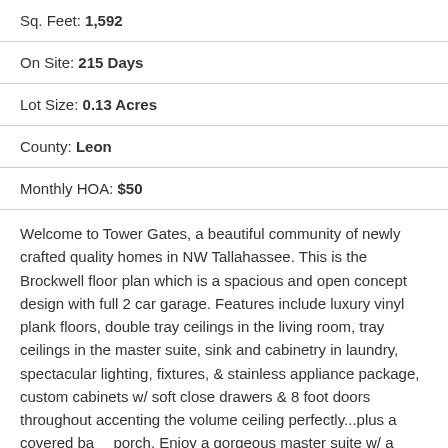Sq. Feet: 1,592
On Site: 215 Days
Lot Size: 0.13 Acres
County: Leon
Monthly HOA: $50
Welcome to Tower Gates, a beautiful community of newly crafted quality homes in NW Tallahassee. This is the Brockwell floor plan which is a spacious and open concept design with full 2 car garage. Features include luxury vinyl plank floors, double tray ceilings in the living room, tray ceilings in the master suite, sink and cabinetry in laundry, spectacular lighting, fixtures, & stainless appliance package, custom cabinets w/ soft close drawers & 8 foot doors throughout accenting the volume ceiling perfectly...plus a covered ba porch. Enjoy a gorgeous master suite w/ a huge walk-in closet